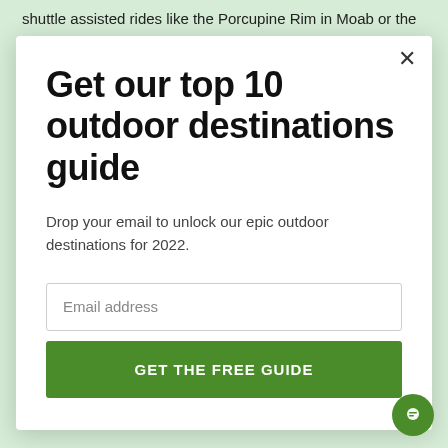shuttle assisted rides like the Porcupine Rim in Moab or the Downieville Classic. If you are going to be riding 'mostly'
Get our top 10 outdoor destinations guide
Drop your email to unlock our epic outdoor destinations for 2022.
Email address
GET THE FREE GUIDE